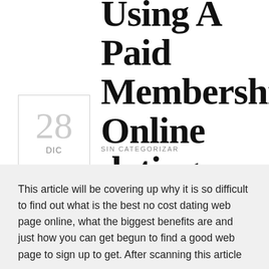Using A Paid Membership Online dating Site?
28 DIC
SIN CATEGORIZAR
This article will be covering up why it is so difficult to find out what is the best no cost dating web page online, what the biggest benefits are and just how you can get begun to find a good web page to sign up to get. After scanning this article you will be armed with the knowledge of what is